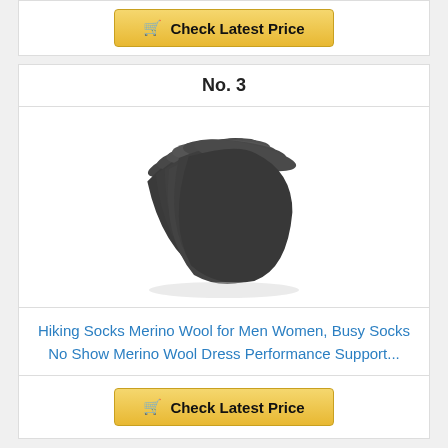Check Latest Price
No. 3
[Figure (photo): Multiple dark grey/black no-show ankle socks fanned out in a stack]
Hiking Socks Merino Wool for Men Women, Busy Socks No Show Merino Wool Dress Performance Support...
Check Latest Price